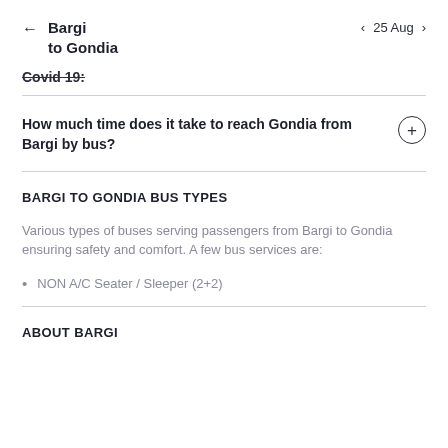Bargi to Gondia  ← | 25 Aug ›
Covid 19:
How much time does it take to reach Gondia from Bargi by bus?
BARGI TO GONDIA BUS TYPES
Various types of buses serving passengers from Bargi to Gondia ensuring safety and comfort. A few bus services are:
NON A/C Seater / Sleeper (2+2)
ABOUT BARGI